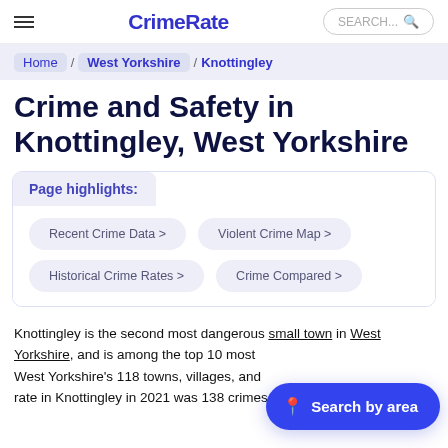CrimeRate
Home / West Yorkshire / Knottingley
Crime and Safety in Knottingley, West Yorkshire
Page highlights:
Recent Crime Data >
Violent Crime Map >
Historical Crime Rates >
Crime Compared >
Knottingley is the second most dangerous small town in West Yorkshire, and is among the top 10 most West Yorkshire's 118 towns, villages, and rate in Knottingley in 2021 was 138 crimes per 1,000 people. This